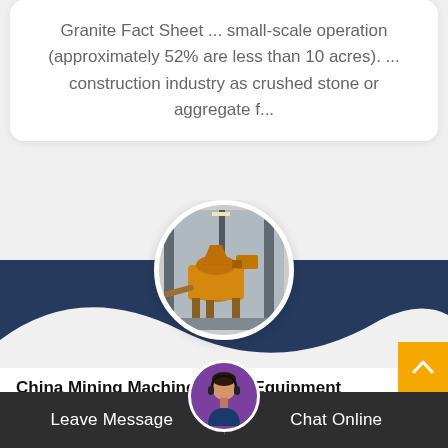Granite Fact Sheet ... small-scale operation (approximately 52% are less than 10 acres). ... construction industry as crushed stone or aggregate f...
[Figure (photo): Circular photo of yellow/orange industrial mining crushing equipment inside a facility, with structural steel in background]
[Figure (illustration): Dark navy blue wave/swoosh decorative background shape]
China Mining Machinery And Equipment
Leave Message
Chat Online
[Figure (photo): Customer service representative avatar with headset, circular, purple background]